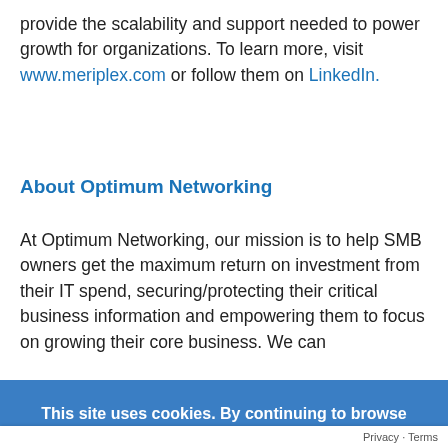provide the scalability and support needed to power growth for organizations. To learn more, visit www.meriplex.com or follow them on LinkedIn.
About Optimum Networking
At Optimum Networking, our mission is to help SMB owners get the maximum return on investment from their IT spend, securing/protecting their critical business information and empowering them to focus on growing their core business. We can
This site uses cookies. By continuing to browse the site, you are agreeing to our use of cookies.
Privacy · Terms